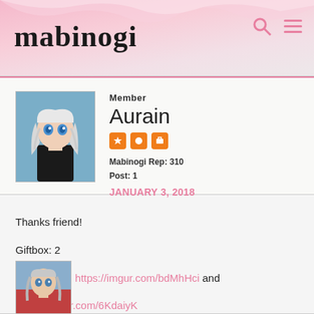mabinogi
[Figure (illustration): User avatar: anime-style female character with white/blonde hair, blue eyes, dark outfit. Game character portrait.]
Member
Aurain
Mabinogi Rep: 310
Post: 1
JANUARY 3, 2018
Thanks friend!
Giftbox: 2
References: https://imgur.com/bdMhHci and https://imgur.com/6KdaiyK
Merry Christmas to everyone in this thread! 🙂
[Figure (illustration): Attached image: anime-style female character with white/grey hair, wearing red and dark outfit. Game character portrait thumbnail.]